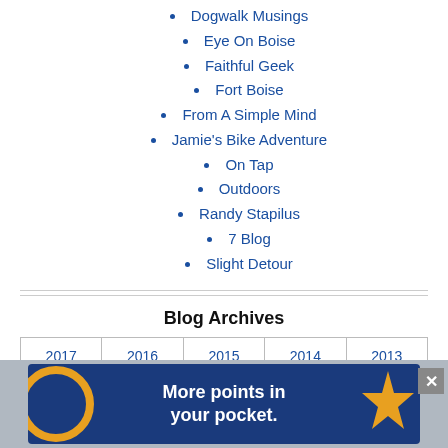Dogwalk Musings
Eye On Boise
Faithful Geek
Fort Boise
From A Simple Mind
Jamie's Bike Adventure
On Tap
Outdoors
Randy Stapilus
7 Blog
Slight Detour
Blog Archives
| 2017 | 2016 | 2015 | 2014 | 2013 |
| 2012 | 2011 | 2010 | 2009 | 2008 |
[Figure (other): Advertisement banner: 'More points in your pocket.' on dark blue background with orange circle and star graphic elements]